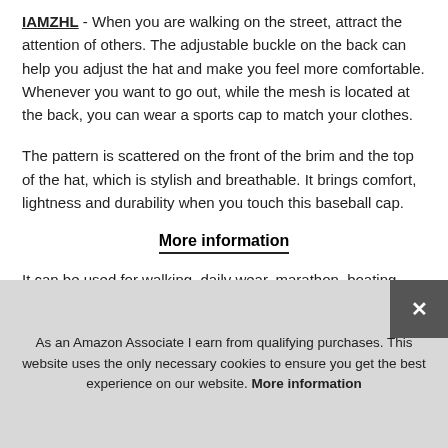IAMZHL - When you are walking on the street, attract the attention of others. The adjustable buckle on the back can help you adjust the hat and make you feel more comfortable. Whenever you want to go out, while the mesh is located at the back, you can wear a sports cap to match your clothes.
The pattern is scattered on the front of the brim and the top of the hat, which is stylish and breathable. It brings comfort, lightness and durability when you touch this baseball cap.
More information
It can be used for walking, daily wear, marathon, boating, golfing, camping, sunbathing on the beach or lake, sports eve...
Whe... brin... keeping your eyes away from harsh sunlight. Protect your
As an Amazon Associate I earn from qualifying purchases. This website uses the only necessary cookies to ensure you get the best experience on our website. More information